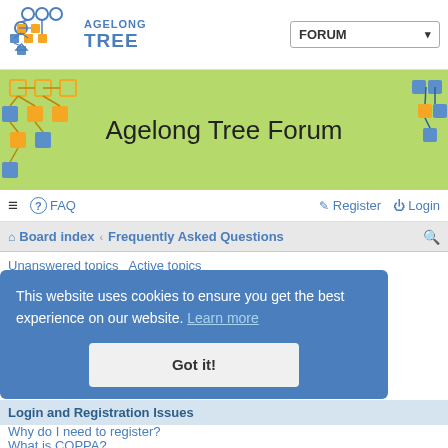[Figure (logo): Agelong Tree logo with colored circles/nodes icon and blue text AGELONG TREE]
FORUM ▾
[Figure (illustration): Green banner with family tree node diagrams on left and right sides]
Agelong Tree Forum
≡  ? FAQ    Register  Login
Board index › Frequently Asked Questions
Unanswered topics   Active topics
This website uses cookies to ensure you get the best experience on our website. Learn more
Frequently Asked Questions
Got it!
Login and Registration Issues
Why do I need to register?
What is COPPA?